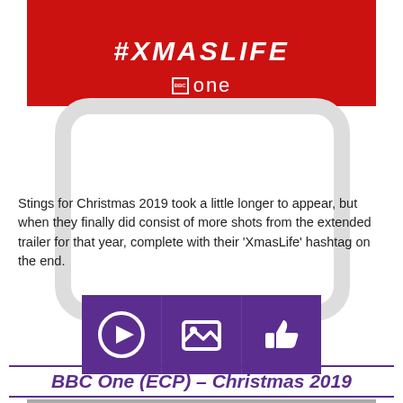[Figure (screenshot): Red BBC One banner showing #XmasLife hashtag text in white and BBC One logo below on red background]
[Figure (illustration): TV screen outline watermark behind the text section, with three purple icon boxes showing play, image, and thumbs-up icons]
Stings for Christmas 2019 took a little longer to appear, but when they finally did consist of more shots from the extended trailer for that year, complete with their 'XmasLife' hashtag on the end.
BBC One (ECP) – Christmas 2019
[Figure (screenshot): Partial view of BBC One Christmas 2019 ECP content with Shona McGarty text visible]